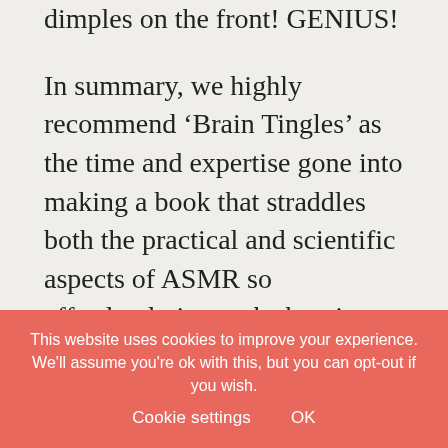dimples on the front! GENIUS!
In summary, we highly recommend ‘Brain Tingles’ as the time and expertise gone into making a book that straddles both the practical and scientific aspects of ASMR so effortlessly is worth shouting about. That, and we think it’s a fabulous way to help talk to your uninitiated friends and
This website uses cookies to improve your experience. We'll assume you're ok with this, but you can opt-out if you wish. Cookie settings OK